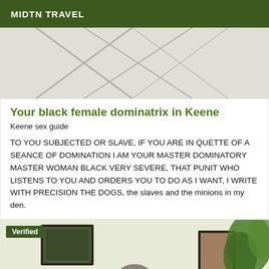MIDTN TRAVEL
[Figure (photo): Close-up photo of white ceramic floor tiles with grey grout lines forming a cross pattern]
Your black female dominatrix in Keene
Keene sex guide
TO YOU SUBJECTED OR SLAVE, IF YOU ARE IN QUETTE OF A SEANCE OF DOMINATION I AM YOUR MASTER DOMINATORY MASTER WOMAN BLACK VERY SEVERE, THAT PUNIT WHO LISTENS TO YOU AND ORDERS YOU TO DO AS I WANT, I WRITE WITH PRECISION THE DOGS, the slaves and the minions in my den.
[Figure (photo): Indoor room photo with framed pictures on white wall and green plant foliage visible, with a Verified badge overlay]